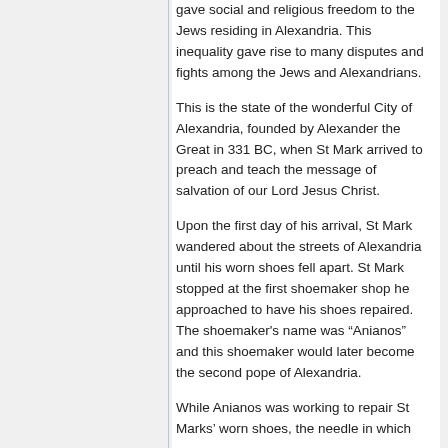gave social and religious freedom to the Jews residing in Alexandria. This inequality gave rise to many disputes and fights among the Jews and Alexandrians.
This is the state of the wonderful City of Alexandria, founded by Alexander the Great in 331 BC, when St Mark arrived to preach and teach the message of salvation of our Lord Jesus Christ.
Upon the first day of his arrival, St Mark wandered about the streets of Alexandria until his worn shoes fell apart. St Mark stopped at the first shoemaker shop he approached to have his shoes repaired. The shoemaker’s name was “Anianos” and this shoemaker would later become the second pope of Alexandria.
While Anianos was working to repair St Marks’ worn shoes, the needle in which